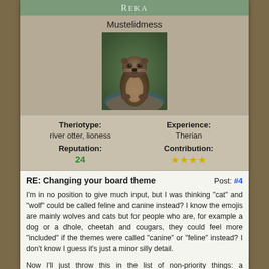Reka
Mustelidmess
[Figure (photo): Photo of a river otter sitting upright on a rock, looking at the camera, with a blurred natural background.]
| Theriotype: | Experience: |
| --- | --- |
| river otter, lioness | Therian |
| Reputation: | Contribution: |
| 24 | ★★★★ |
RE: Changing your board theme
Post: #4
I'm in no position to give much input, but I was thinking "cat" and "wolf" could be called feline and canine instead? I know the emojis are mainly wolves and cats but for people who are, for example a dog or a dhole, cheetah and cougars, they could feel more "included" if the themes were called "canine" or "feline" instead? I don't know I guess it's just a minor silly detail.
Now I'll just throw this in the list of non-priority things: a weasel/mustelid theme! Or it could be a every-other-animal-type theme maybe one day. *laughs hysterically and disappears*
Edit:
By the way I think it's great thanks for your all the work you do in this place ^^...